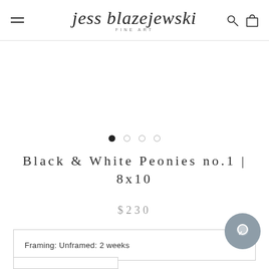jess blazejewski fine art — navigation header with logo, hamburger menu, search and cart icons
[Figure (illustration): Carousel navigation dots: one filled black dot followed by three empty circle dots]
Black & White Peonies no.1 | 8x10
$230
Framing: Unframed: 2 weeks